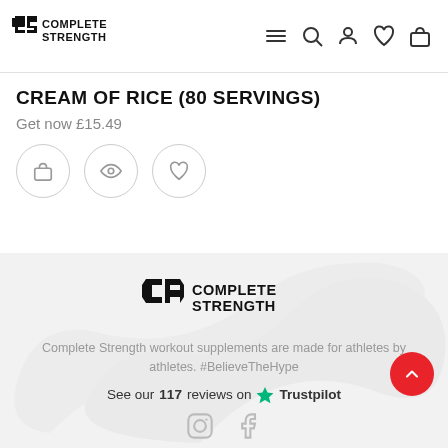[Figure (logo): Complete Strength logo — CS icon and text]
CREAM OF RICE (80 SERVINGS)
Get now £15.49
[Figure (logo): Complete Strength footer logo — CS icon and text]
Complete Strength workout supplements are made for athletes by athletes. #BelieveTheHype
See our 117 reviews on Trustpilot
[Figure (other): Social media icons: Instagram and Facebook]